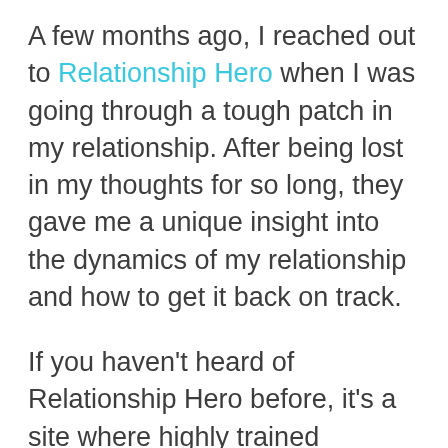A few months ago, I reached out to Relationship Hero when I was going through a tough patch in my relationship. After being lost in my thoughts for so long, they gave me a unique insight into the dynamics of my relationship and how to get it back on track.
If you haven't heard of Relationship Hero before, it's a site where highly trained relationship coaches help people through complicated and difficult love situations.
In just a few minutes you can connect with a certified relationship coach and get tailor-made advice for your situation.